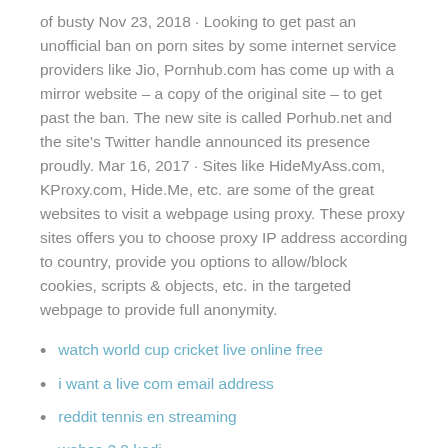of busty Nov 23, 2018 · Looking to get past an unofficial ban on porn sites by some internet service providers like Jio, Pornhub.com has come up with a mirror website – a copy of the original site – to get past the ban. The new site is called Porhub.net and the site's Twitter handle announced its presence proudly. Mar 16, 2017 · Sites like HideMyAss.com, KProxy.com, Hide.Me, etc. are some of the great websites to visit a webpage using proxy. These proxy sites offers you to choose proxy IP address according to country, provide you options to allow/block cookies, scripts & objects, etc. in the targeted webpage to provide full anonymity.
watch world cup cricket live online free
i want a live com email address
reddit tennis en streaming
webos 2.0 kodi
cover your ass vpn
how do i uninstall an app from my iphone